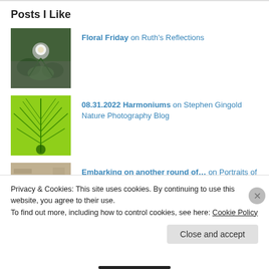Posts I Like
Floral Friday on Ruth's Reflections
08.31.2022 Harmoniums on Stephen Gingold Nature Photography Blog
Embarking on another round of... on Portraits of Wildflowers
Privacy & Cookies: This site uses cookies. By continuing to use this website, you agree to their use.
To find out more, including how to control cookies, see here: Cookie Policy
Close and accept